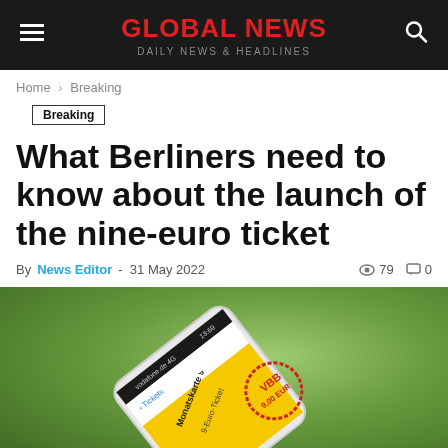GLOBAL NEWS — DAILY NEWS & HEADLINES
Home > Breaking
Breaking
What Berliners need to know about the launch of the nine-euro ticket
By News Editor - 31 May 2022  👁 79  💬 0
[Figure (photo): A smartphone displaying the Monatskarte 9-Euro-Ticket app screen, with a VBB (Berlin-Brandenburg public transport) stamp showing 9.00 EUR, on a green blurred background.]